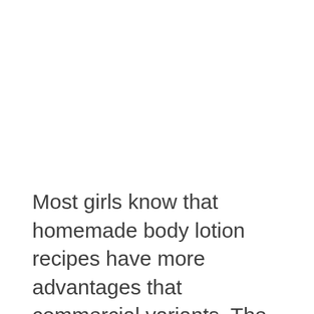Most girls know that homemade body lotion recipes have more advantages that commercial variants. The great bonus is that organic lotions don't contain any harmful